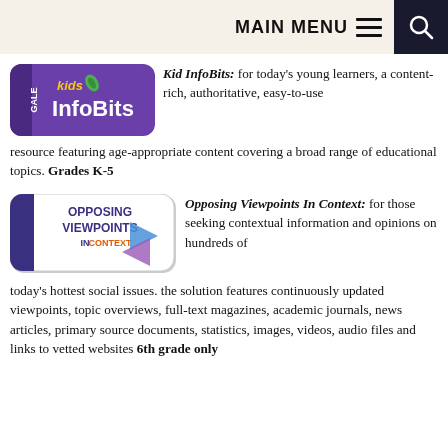MAIN MENU
[Figure (logo): Gale Kids InfoBits logo — purple rounded rectangle with 'kids InfoBits' text in orange/white]
Kid InfoBits: for today's young learners, a content-rich, authoritative, easy-to-use resource featuring age-appropriate content covering a broad range of educational topics. Grades K-5
[Figure (logo): Gale Opposing Viewpoints In Context logo — white rounded rectangle with blue and purple arrow graphic]
Opposing Viewpoints In Context: for those seeking contextual information and opinions on hundreds of today's hottest social issues. the solution features continuously updated viewpoints, topic overviews, full-text magazines, academic journals, news articles, primary source documents, statistics, images, videos, audio files and links to vetted websites 6th grade only